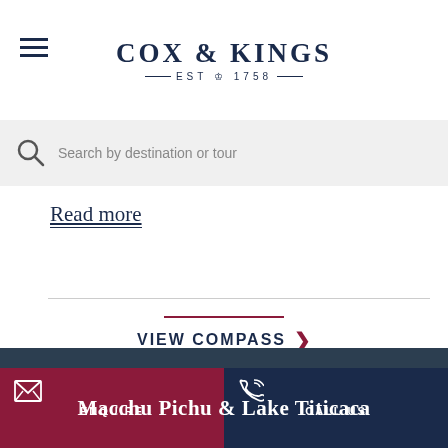[Figure (logo): Cox & Kings logo with EST 1758 and crown emblem]
Search by destination or tour
Read more
VIEW COMPASS
ENQUIRE
CALL US
Macchu Pichu & Lake Titicaca